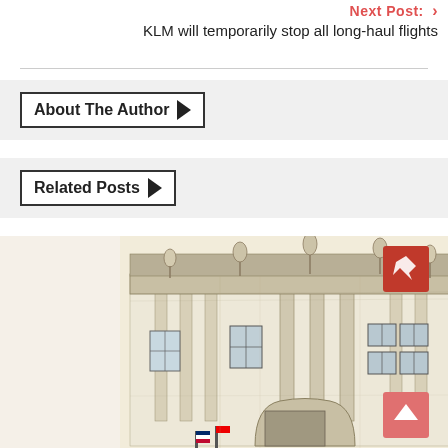Next Post: KLM will temporarily stop all long-haul flights
About The Author
Related Posts
[Figure (illustration): Watercolor/pen sketch of an ornate classical European building facade with statues on the roofline, columns, and windows. A red pin button and a red scroll-to-top button are overlaid in the upper right and lower right corners respectively.]